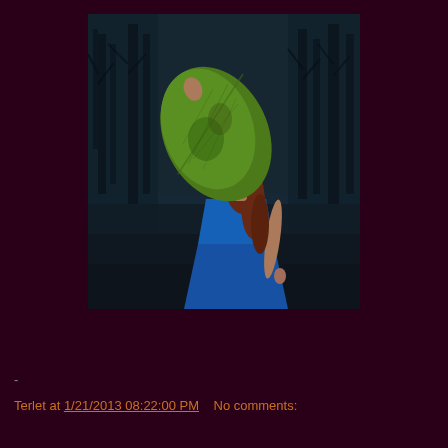[Figure (photo): A woman in a blue dress standing in a dark misty forest. She is holding a large green leaf or fabric in front of her face, with reddish-brown hair visible. The background shows bare tree silhouettes in a dark teal/blue atmosphere.]
-
Terlet at 1/21/2013 08:22:00 PM    No comments: